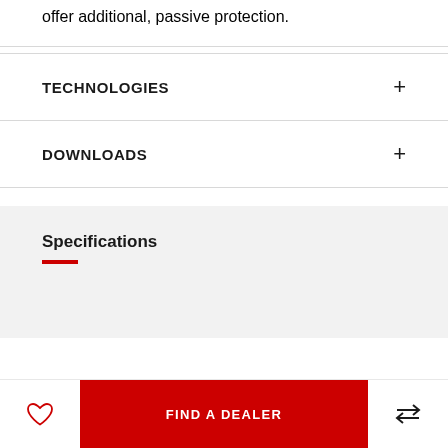offer additional, passive protection.
TECHNOLOGIES
DOWNLOADS
Specifications
FIND A DEALER